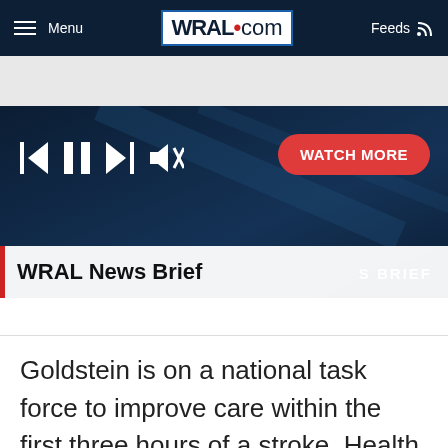Menu | WRAL.com | Feeds
[Figure (screenshot): WRAL News Brief video player with playback controls (skip back, pause, skip forward, mute) and a red WATCH MORE button. News brief lower bar shows 'WRAL News Brief' text with red bar accent.]
Goldstein is on a national task force to improve care within the first three hours of a stroke. Health experts said permanent brain damage can begin in that period of time unless a drug called TPA is injected to